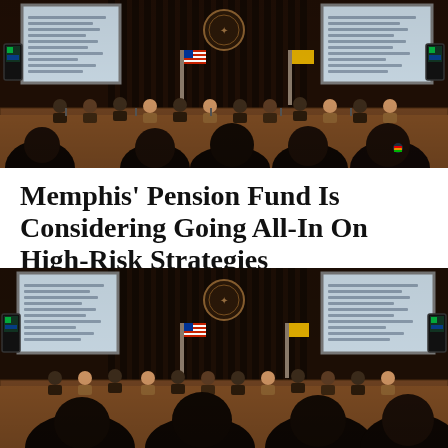[Figure (photo): City council chamber meeting room with wooden slat wall, two large projection screens displaying content, a city seal/emblem in the center, an American flag, council members seated at a curved table, and audience members visible in the foreground.]
Memphis' Pension Fund Is Considering Going All-In On High-Risk Strategies
[Figure (photo): Same city council chamber meeting room photographed from a similar angle, showing the wooden slat wall, two large projection screens, city seal, and council members seated at the table with audience in the foreground.]